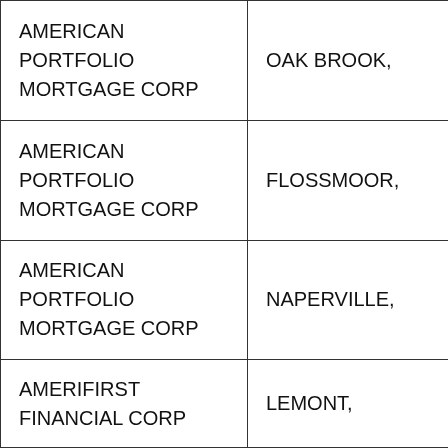| AMERICAN PORTFOLIO MORTGAGE CORP | OAK BROOK, |
| AMERICAN PORTFOLIO MORTGAGE CORP | FLOSSMOOR, |
| AMERICAN PORTFOLIO MORTGAGE CORP | NAPERVILLE, |
| AMERIFIRST FINANCIAL CORP | LEMONT, |